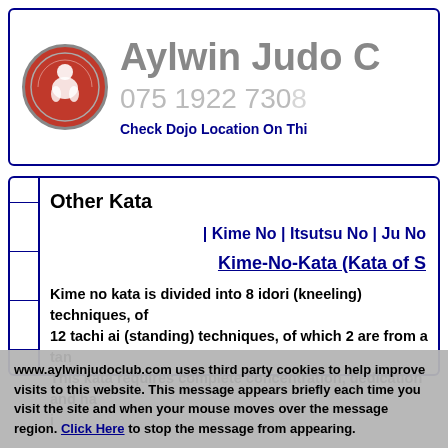Aylwin Judo C[lub] | 075 1922 730[x] | Check Dojo Location On Thi[s Map]
Other Kata
| Kime No | Itsutsu No | Ju No
Kime-No-Kata (Kata of S[elf-Defence])
Kime no kata is divided into 8 idori (kneeling) techniques, of[which] 12 tachi ai (standing) techniques, of which 2 are from a tan[to]. This kata requires complete concentration, dedication and ha[rd] i[ncessant dedication, removed from the familiar...]
www.aylwinjudoclub.com uses third party cookies to help improve visits to this website. This message appears briefly each time you visit the site and when your mouse moves over the message region. Click Here to stop the message from appearing.